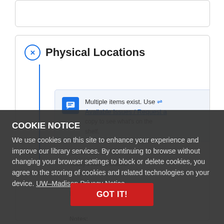Physical Locations
Multiple items exist. Use Available Issues / Request a copy to see what's on the shelf.
Micro film P78-3607
Notes: Microfilm, Glen Rock, N.J.
COOKIE NOTICE
We use cookies on this site to enhance your experience and improve our library services. By continuing to browse without changing your browser settings to block or delete cookies, you agree to the storing of cookies and related technologies on your device. UW–Madison Privacy Notice
GOT IT!